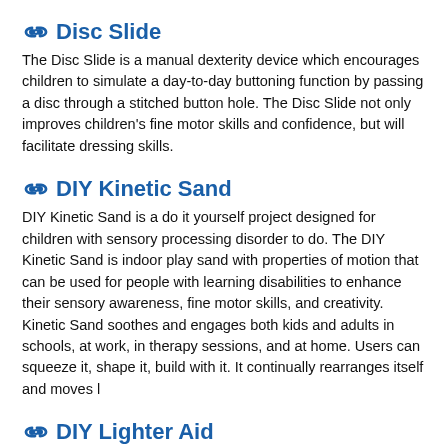Disc Slide
The Disc Slide is a manual dexterity device which encourages children to simulate a day-to-day buttoning function by passing a disc through a stitched button hole. The Disc Slide not only improves children's fine motor skills and confidence, but will facilitate dressing skills.
DIY Kinetic Sand
DIY Kinetic Sand is a do it yourself project designed for children with sensory processing disorder to do. The DIY Kinetic Sand is indoor play sand with properties of motion that can be used for people with learning disabilities to enhance their sensory awareness, fine motor skills, and creativity. Kinetic Sand soothes and engages both kids and adults in schools, at work, in therapy sessions, and at home. Users can squeeze it, shape it, build with it. It continually rearranges itself and moves l
DIY Lighter Aid
--- "DO IT YOURSELF" ENTRY ------- PURPOSE: To provide